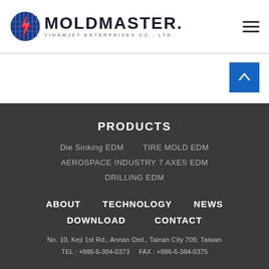[Figure (logo): Moldmaster Yihawjet Enterprises Co., Ltd. logo with globe/lightning icon and bold text]
[Figure (other): Hamburger menu icon (three horizontal lines) in top right]
[Figure (other): Blue scroll-up button with upward arrow]
PRODUCTS
Die Sinking EDM
TIRE MOLD EDM
AEROSPACE INDUSTRY 7 AXES EDM
DRILLING EDM
ABOUT
TECHNOLOGY
NEWS
DOWNLOAD
CONTACT
No. 10, Keji 1st Rd., Annan Dist., Tainan City 709, Taiwan
TEL : +886-6-384-0373    FAX : +886-6-384-0375